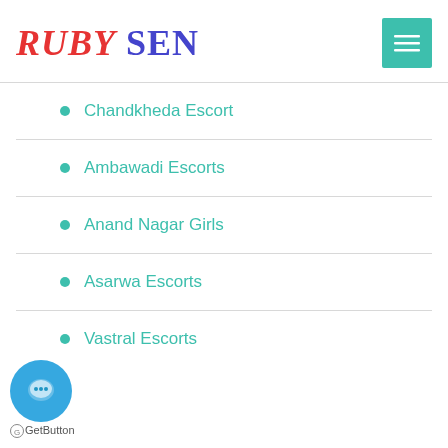RUBY SEN
Chandkheda Escort
Ambawadi Escorts
Anand Nagar Girls
Asarwa Escorts
Vastral Escorts
Go GetButton